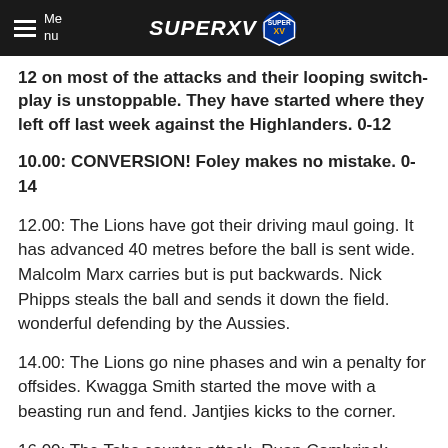Menu | SUPERXV
12 on most of the attacks and their looping switch-play is unstoppable. They have started where they left off last week against the Highlanders. 0-12
10.00: CONVERSION! Foley makes no mistake. 0-14
12.00: The Lions have got their driving maul going. It has advanced 40 metres before the ball is sent wide. Malcolm Marx carries but is put backwards. Nick Phipps steals the ball and sends it down the field. wonderful defending by the Aussies.
14.00: The Lions go nine phases and win a penalty for offsides. Kwagga Smith started the move with a beasting run and fend. Jantjies kicks to the corner.
16.00: The Tahs counter-attack, Ruan Combrinck intercepts